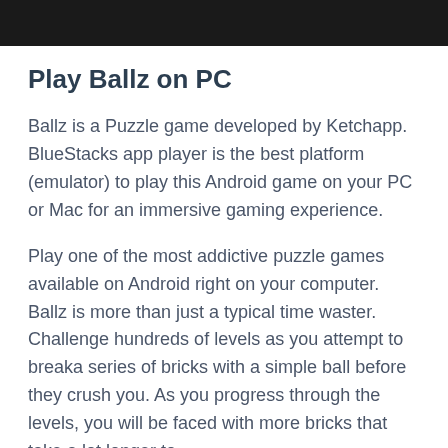Play Ballz on PC
Ballz is a Puzzle game developed by Ketchapp. BlueStacks app player is the best platform (emulator) to play this Android game on your PC or Mac for an immersive gaming experience.
Play one of the most addictive puzzle games available on Android right on your computer. Ballz is more than just a typical time waster. Challenge hundreds of levels as you attempt to breaka series of bricks with a simple ball before they crush you. As you progress through the levels, you will be faced with more bricks that take a lot longer to